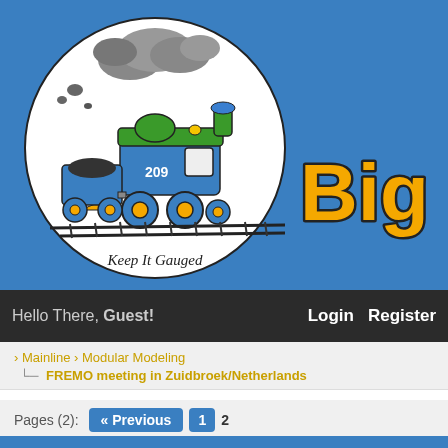[Figure (logo): Big Blue Train club logo: circular badge with cartoon blue steam locomotive numbered 209 with green accents pulling a coal car, smoke cloud above, railroad tracks below, text 'Keep It Gauged' at bottom of circle. Blue banner background behind logo with partial text 'Big B' in orange with black outline.]
Hello There, Guest!  Login  Register
› Mainline › Modular Modeling
FREMO meeting in Zuidbroek/Netherlands
Pages (2):  « Previous  1  2